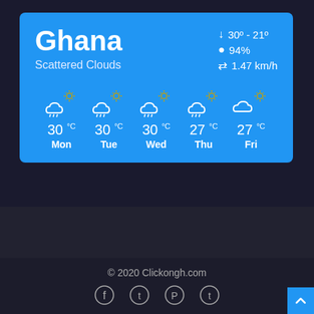Ghana
Scattered Clouds
30° - 21°
94%
1.47 km/h
[Figure (infographic): 5-day weather forecast showing Mon 30°C, Tue 30°C, Wed 30°C, Thu 27°C, Fri 27°C with rain/cloud icons]
© 2020 Clickongh.com
[Figure (infographic): Social media icons: Facebook, Twitter, Pinterest, Tumblr]